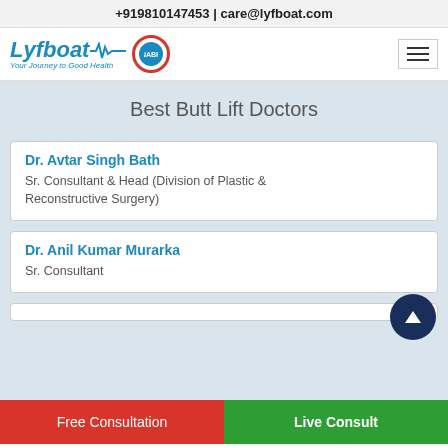+919810147453 | care@lyfboat.com
[Figure (logo): Lyfboat logo with tagline 'Your Journey to Good Health', heartbeat wave, and certification badge]
Best Butt Lift Doctors
Dr. Avtar Singh Bath
Sr. Consultant & Head (Division of Plastic & Reconstructive Surgery)
Dr. Anil Kumar Murarka
Sr. Consultant
Free Consultation
Live Consult